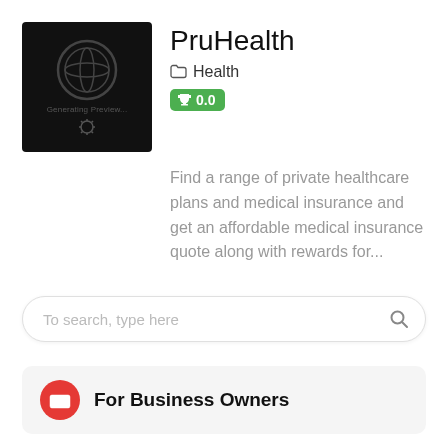[Figure (screenshot): Thumbnail image showing WordPress logo on black background with text 'Generating Preview...' and a gear icon]
PruHealth
Health
0.0
Find a range of private healthcare plans and medical insurance and get an affordable medical insurance quote along with rewards for...
To search, type here
For Business Owners